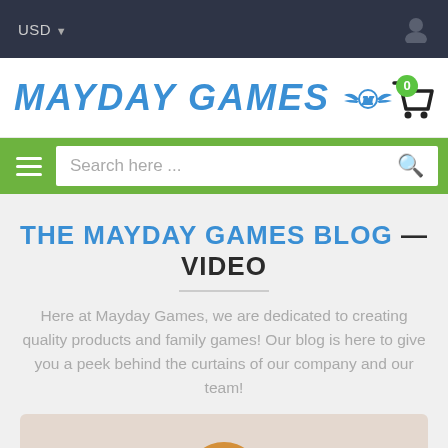USD ▾
[Figure (logo): Mayday Games logo with blue italic text and wing emblem]
[Figure (screenshot): Green search bar with hamburger menu and search field]
THE MAYDAY GAMES BLOG — VIDEO
Here at Mayday Games, we are dedicated to creating quality products and family games! Our blog is here to give you a peek behind the curtains of our company and our team!
[Figure (photo): Monkey figurine/toy with a red discount badge showing % symbol]